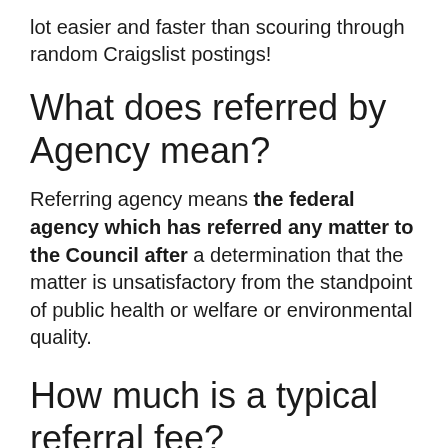lot easier and faster than scouring through random Craigslist postings!
What does referred by Agency mean?
Referring agency means the federal agency which has referred any matter to the Council after a determination that the matter is unsatisfactory from the standpoint of public health or welfare or environmental quality.
How much is a typical referral fee?
Agencies typically pay referral fees of 5% to